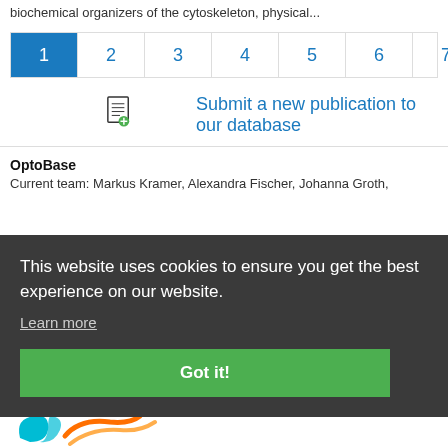biochemical organizers of the cytoskeleton, physical...
1 2 3 4 5 6 7 8 9 10 11 12
Submit a new publication to our database
OptoBase
Current team: Markus Kramer, Alexandra Fischer, Johanna Groth,
This website uses cookies to ensure you get the best experience on our website.
Learn more
Got it!
[Figure (logo): AIMO or similar organization logo in teal/orange colors at bottom]